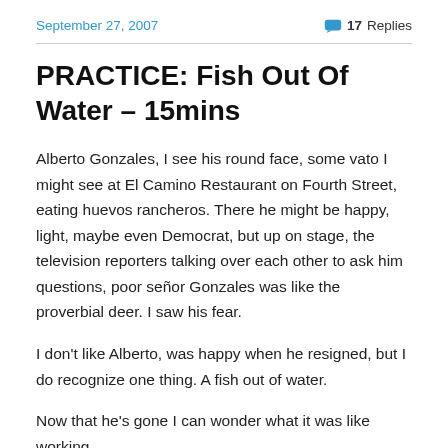September 27, 2007   17 Replies
PRACTICE: Fish Out Of Water – 15mins
Alberto Gonzales, I see his round face, some vato I might see at El Camino Restaurant on Fourth Street, eating huevos rancheros. There he might be happy, light, maybe even Democrat, but up on stage, the television reporters talking over each other to ask him questions, poor señor Gonzales was like the proverbial deer. I saw his fear.
I don't like Alberto, was happy when he resigned, but I do recognize one thing. A fish out of water.
Now that he's gone I can wonder what it was like working